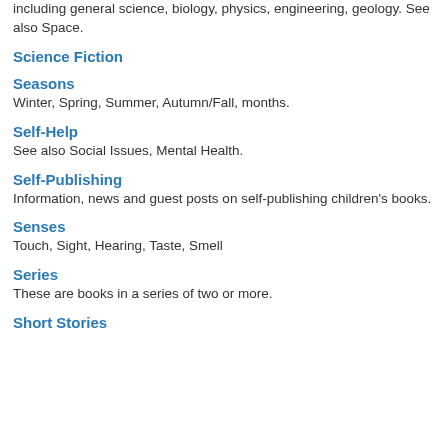including general science, biology, physics, engineering, geology. See also Space.
Science Fiction
Seasons
Winter, Spring, Summer, Autumn/Fall, months.
Self-Help
See also Social Issues, Mental Health.
Self-Publishing
Information, news and guest posts on self-publishing children's books.
Senses
Touch, Sight, Hearing, Taste, Smell
Series
These are books in a series of two or more.
Short Stories